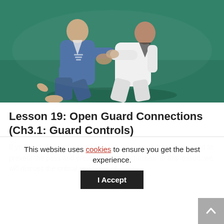[Figure (photo): Two martial artists practicing Brazilian Jiu-Jitsu on a green mat. One wearing a blue gi, one wearing a white gi, engaged in open guard grappling technique.]
Lesson 19: Open Guard Connections (Ch3.1: Guard Controls)
If you're stalled in the closed guard, you can shift to open guard to prevent the pass and create more opportunities. In this lesson, we will discuss the critical principles of
This website uses cookies to ensure you get the best experience.
I Accept